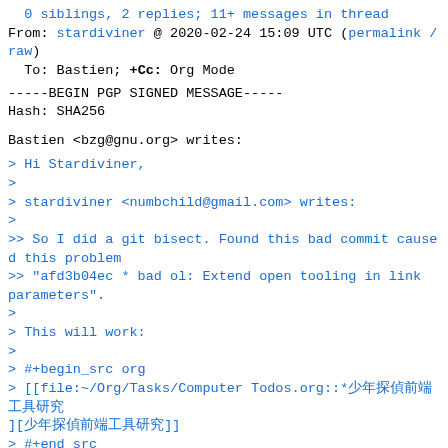0 siblings, 2 replies; 11+ messages in thread
From: stardiviner @ 2020-02-24 15:09 UTC (permalink / raw)
To: Bastien; +Cc: Org Mode
-----BEGIN PGP SIGNED MESSAGE-----
Hash: SHA256
Bastien <bzg@gnu.org> writes:
> Hi Stardiviner,
>
> stardiviner <numbchild@gmail.com> writes:
>
>> So I did a git bisect. Found this bad commit caused this problem
>> "afd3b04ec * bad ol: Extend open tooling in link parameters".
>
> This will work:
>
> #+begin_src org
> [[file:~/Org/Tasks/Computer Todos.org::*少年探偵前端工具研究][少年探偵前端工具研究]]
> #+end_src
>
> org-store-link used to store the TODO keyword, which was a mistake.
>